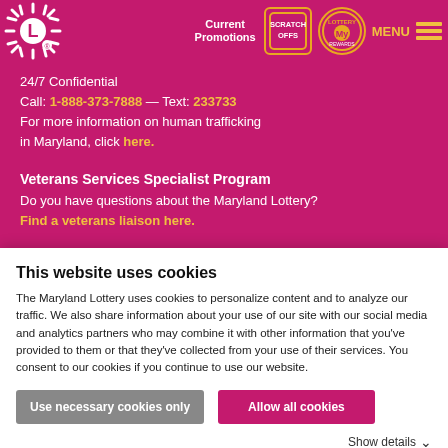Maryland Lottery — Current Promotions | SCRATCH OFFS | My Rewards | MENU
24/7 Confidential
Call: 1-888-373-7888 — Text: 233733
For more information on human trafficking in Maryland, click here.
Veterans Services Specialist Program
Do you have questions about the Maryland Lottery?
Find a veterans liaison here.
$18.6 billion
This website uses cookies
The Maryland Lottery uses cookies to personalize content and to analyze our traffic. We also share information about your use of our site with our social media and analytics partners who may combine it with other information that you've provided to them or that they've collected from your use of their services. You consent to our cookies if you continue to use our website.
Use necessary cookies only | Allow all cookies
Show details